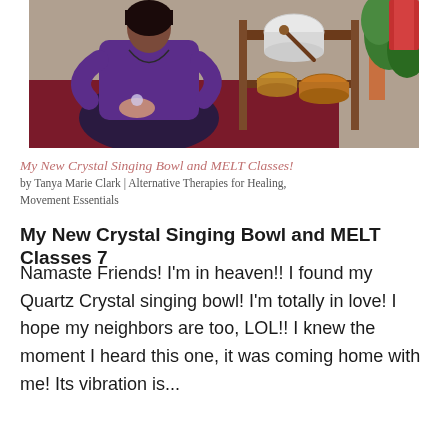[Figure (photo): Woman in purple top sitting cross-legged on a red mat with crystal singing bowls and other bowls on a wooden shelf behind her, with a plant visible on the right]
My New Crystal Singing Bowl and MELT Classes!
by Tanya Marie Clark | Alternative Therapies for Healing, Movement Essentials
My New Crystal Singing Bowl and MELT Classes 7
Namaste Friends! I'm in heaven!! I found my Quartz Crystal singing bowl! I'm totally in love! I hope my neighbors are too, LOL!! I knew the moment I heard this one, it was coming home with me! Its vibration is...